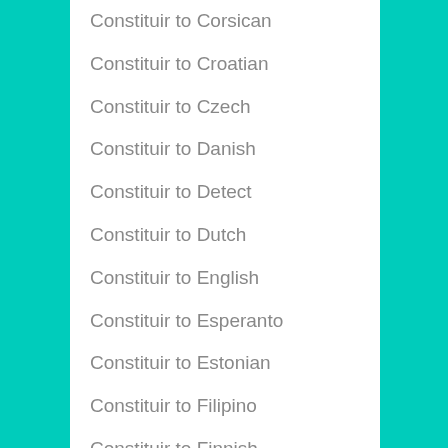Constituir to Corsican
Constituir to Croatian
Constituir to Czech
Constituir to Danish
Constituir to Detect
Constituir to Dutch
Constituir to English
Constituir to Esperanto
Constituir to Estonian
Constituir to Filipino
Constituir to Finnish
Constituir to French
Constituir to Frisian
Constituir to Galician